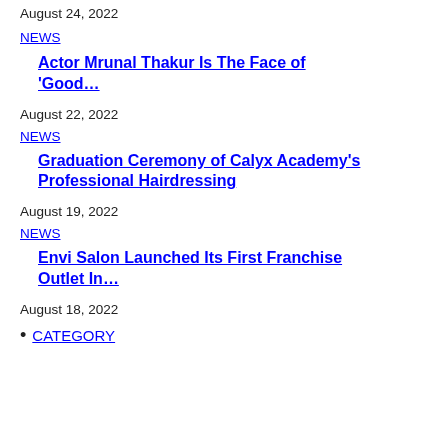August 24, 2022
NEWS
Actor Mrunal Thakur Is The Face of 'Good…
August 22, 2022
NEWS
Graduation Ceremony of Calyx Academy's Professional Hairdressing
August 19, 2022
NEWS
Envi Salon Launched Its First Franchise Outlet In…
August 18, 2022
CATEGORY